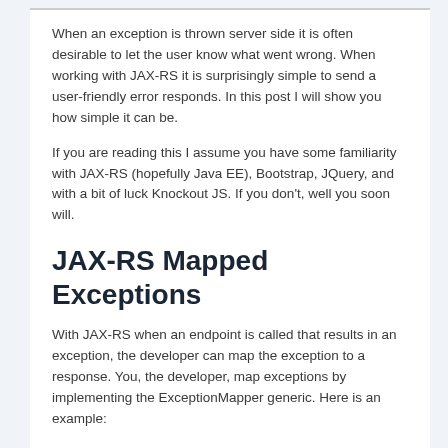When an exception is thrown server side it is often desirable to let the user know what went wrong. When working with JAX-RS it is surprisingly simple to send a user-friendly error responds. In this post I will show you how simple it can be.
If you are reading this I assume you have some familiarity with JAX-RS (hopefully Java EE), Bootstrap, JQuery, and with a bit of luck Knockout JS. If you don't, well you soon will.
JAX-RS Mapped Exceptions
With JAX-RS when an endpoint is called that results in an exception, the developer can map the exception to a response. You, the developer, map exceptions by implementing the ExceptionMapper generic. Here is an example: